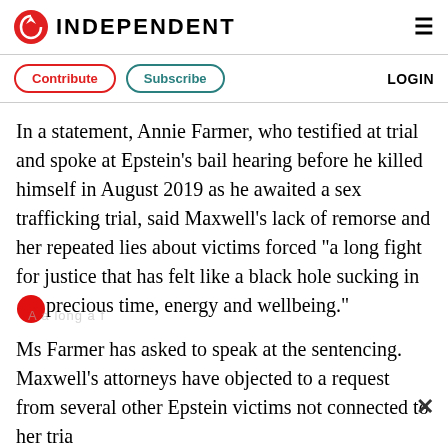INDEPENDENT
Contribute | Subscribe | LOGIN
In a statement, Annie Farmer, who testified at trial and spoke at Epstein’s bail hearing before he killed himself in August 2019 as he awaited a sex trafficking trial, said Maxwell’s lack of remorse and her repeated lies about victims forced “a long fight for justice that has felt like a black hole sucking in our precious time, energy and wellbeing.”
Ms Farmer has asked to speak at the sentencing. Maxwell’s attorneys have objected to a request from several other Epstein victims not connected to her trial, including British woman Sarah Ransome f…